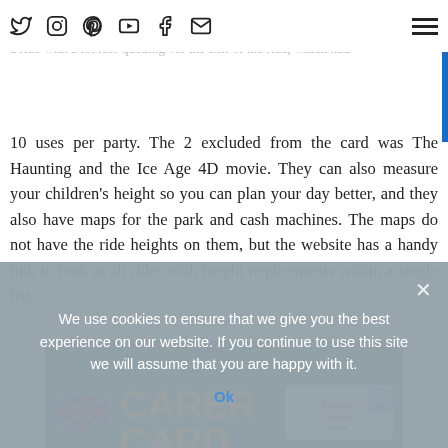looks like a lighthouse and with Leo's 1-in letter they give Leo a ride with a lot less queuing via the exit of the ride, which had
10 uses per party. The 2 excluded from the card was The Haunting and the Ice Age 4D movie. They can also measure your children's height so you can plan your day better, and they also have maps for the park and cash machines. The maps do not have the ride heights on them, but the website has a handy link to look at all rides with height requirements within a single list.
[Figure (photo): A Carer Card from Drayton Manor theme park - a disability/accessibility card with 'CARER CARD' text prominently displayed along with the Drayton Manor and Thomas the Tank Engine logos. The card appears to be a Disabled Access Facility card.]
We use cookies to ensure that we give you the best experience on our website. If you continue to use this site we will assume that you are happy with it.
Ok